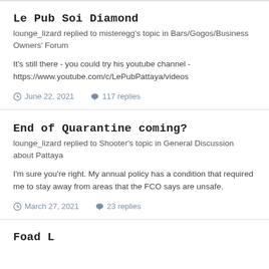Le Pub Soi Diamond
lounge_lizard replied to misteregg's topic in Bars/Gogos/Business Owners' Forum
It's still there - you could try his youtube channel - https://www.youtube.com/c/LePubPattaya/videos
June 22, 2021   117 replies
End of Quarantine coming?
lounge_lizard replied to Shooter's topic in General Discussion about Pattaya
I'm sure you're right. My annual policy has a condition that required me to stay away from areas that the FCO says are unsafe.
March 27, 2021   23 replies
Foad L